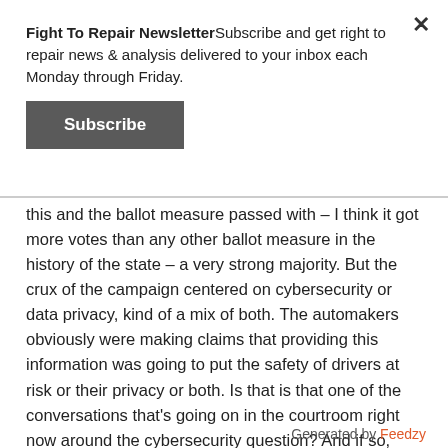Fight To Repair NewsletterSubscribe and get right to repair news & analysis delivered to your inbox each Monday through Friday.
Subscribe
this and the ballot measure passed with – I think it got more votes than any other ballot measure in the history of the state – a very strong majority. But the crux of the campaign centered on cybersecurity or data privacy, kind of a mix of both. The automakers obviously were making claims that providing this information was going to put the safety of drivers at risk or their privacy or both. Is that is that one of the conversations that's going on in the courtroom right now around the cybersecurity question? And if so, what does it center on?
Generated by Feedzy